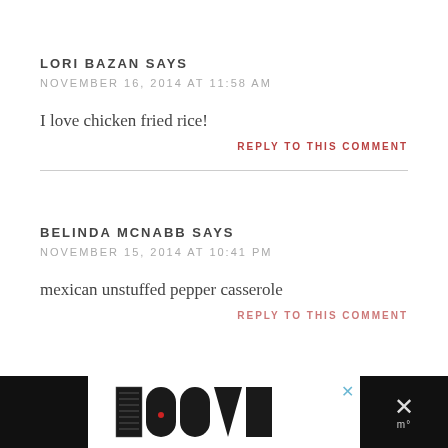LORI BAZAN SAYS
NOVEMBER 16, 2014 AT 11:58 AM
I love chicken fried rice!
REPLY TO THIS COMMENT
BELINDA MCNABB SAYS
NOVEMBER 15, 2014 AT 10:41 PM
mexican unstuffed pepper casserole
REPLY TO THIS COMMENT
[Figure (other): Advertisement banner with decorative LOOVE text logo in black and white ornamental lettering, with a close button (x) and a dark panel on the right showing an X symbol and degree symbol]